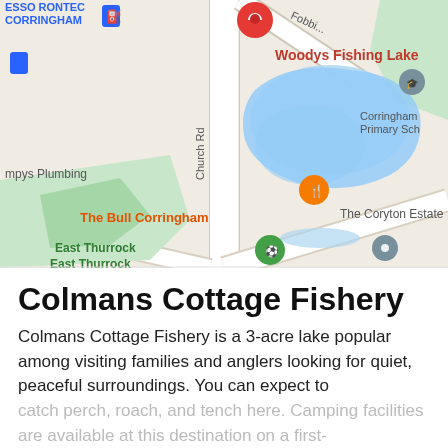[Figure (map): Google Maps screenshot showing Woodys Fishing Lake (red pin), The Bull Corringham (orange pin), East Thurrock United Football Club (green pin), The Coryton Estate (grey pin), Corringham Primary School, ESSO RONTEC CORRINGHAM, and mpys Plumbing. Blue lake shapes visible. Roads include Church Rd and Fobbing road. Green areas visible for football club and school.]
Colmans Cottage Fishery
Colmans Cottage Fishery is a 3-acre lake popular among visiting families and anglers looking for quiet, peaceful surroundings. You can expect to catch perch, roach, and tench here. Camping facilities are available at this destination on a first-